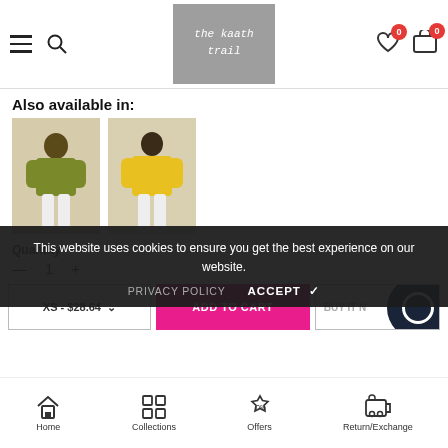[Figure (screenshot): E-commerce website header with hamburger menu, search icon, logo 'the kaath trail' in grey box, heart icon with red badge, and cart icon with 0 badge]
Also available in:
[Figure (photo): Two product photos showing women's blouses - one olive/green and one yellow, both with white pants]
Quantity
— 1 +
XS - $28.64 ∨
ADD TO CART
BUY IT N...
This website uses cookies to ensure you get the best experience on our website.
PRIVACY POLICY    ACCEPT ✓
Home   Collections   Offers   Return/Exchange